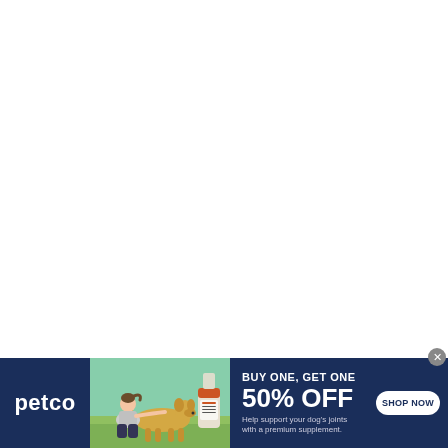[Figure (advertisement): Petco advertisement banner. Dark navy blue background. Left section shows Petco logo in white. Center shows a woman kneeling with a golden Labrador dog outdoors and a supplement bottle product image. Right text section reads 'BUY ONE, GET ONE 50% OFF' with subtext 'Help support your dog's joints with a premium supplement.' and a 'SHOP NOW' button in white pill shape.]